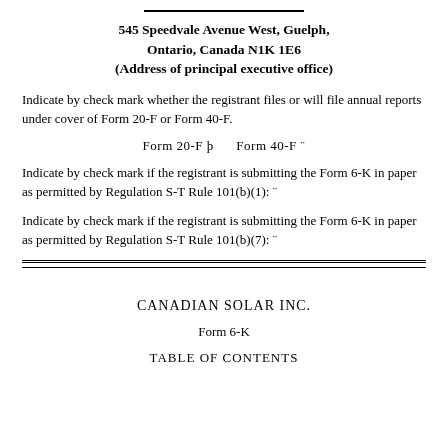545 Speedvale Avenue West, Guelph, Ontario, Canada N1K 1E6
(Address of principal executive office)
Indicate by check mark whether the registrant files or will file annual reports under cover of Form 20-F or Form 40-F.
Form 20-F þ      Form 40-F ¨
Indicate by check mark if the registrant is submitting the Form 6-K in paper as permitted by Regulation S-T Rule 101(b)(1): ¨
Indicate by check mark if the registrant is submitting the Form 6-K in paper as permitted by Regulation S-T Rule 101(b)(7): ¨
CANADIAN SOLAR INC.
Form 6-K
TABLE OF CONTENTS